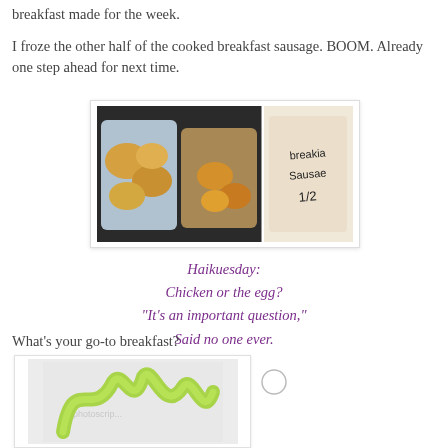breakfast made for the week.
I froze the other half of the cooked breakfast sausage. BOOM. Already one step ahead for next time.
[Figure (photo): Two plastic containers filled with cooked food items (egg/sausage bites), alongside a labeled freezer bag reading 'breakfast sausage 1/2']
Haikuesday:
Chicken or the egg?
"It's an important question,"
Said no one ever.
What's your go-to breakfast?
[Figure (photo): Partial image of a green ribbon or squiggle design on a light gray background, appears to be a stock photo watermark visible]